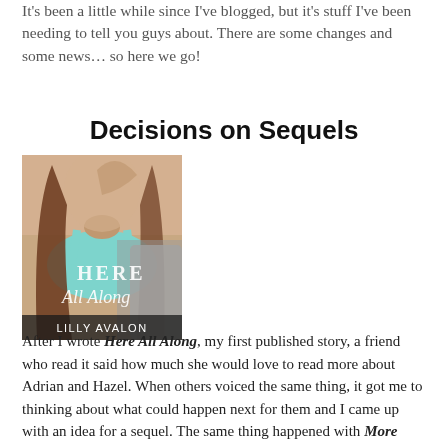It's been a little while since I've blogged, but it's stuff I've been needing to tell you guys about. There are some changes and some news… so here we go!
Decisions on Sequels
[Figure (photo): Book cover of 'Here All Along' by Lilly Avalon, showing a woman in a teal bikini top with long brown hair, and a man partially visible behind her. The title is written in cursive script.]
After I wrote Here All Along, my first published story, a friend who read it said how much she would love to read more about Adrian and Hazel. When others voiced the same thing, it got me to thinking about what could happen next for them and I came up with an idea for a sequel. The same thing happened with More Than Words. I put the sequels up on on Goodreads and had plans to get to them soon.